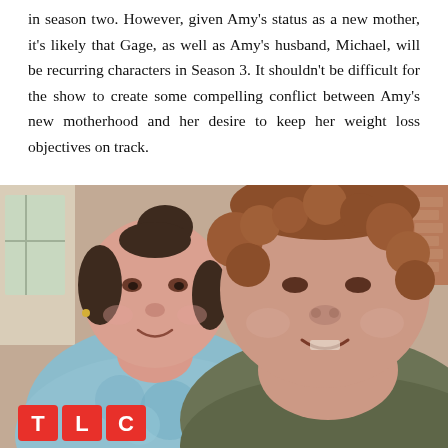in season two. However, given Amy's status as a new mother, it's likely that Gage, as well as Amy's husband, Michael, will be recurring characters in Season 3. It shouldn't be difficult for the show to create some compelling conflict between Amy's new motherhood and her desire to keep her weight loss objectives on track.
[Figure (photo): Two women posing together and smiling. The woman on the left wears a light blue tie-dye sleeveless top and has dark hair up in a bun. The woman on the right has curly reddish-brown hair and wears an olive/dark green top. A TLC network logo appears in the bottom left corner.]